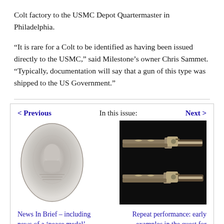Colt factory to the USMC Depot Quartermaster in Philadelphia.
“It is rare for a Colt to be identified as having been issued directly to the USMC,” said Milestone’s owner Chris Sammet. “Typically, documentation will say that a gun of this type was shipped to the US Government.”
< Previous
In this issue:
Next >
[Figure (photo): An oval-shaped silver peace medal with an engraved portrait, shown against a white background.]
[Figure (photo): Two antique flintlock rifles or muskets displayed against a black background.]
News In Brief – including news of a ‘peace medal’ bought by a US museum
Repeat performance: early examples in the quest for workable rapid